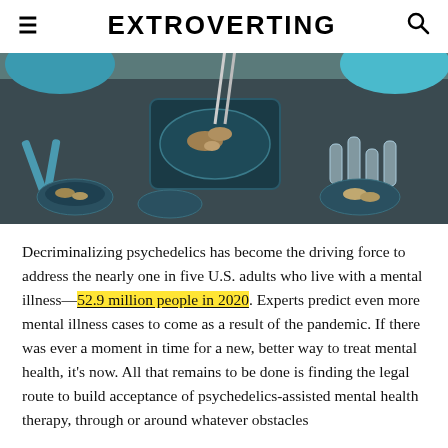EXTROVERTING
[Figure (photo): Laboratory setting showing mushrooms being examined with tweezers on a petri dish, with lab equipment including scissors, test tubes, and other petri dishes on a dark surface. Blue-gloved hands visible.]
Decriminalizing psychedelics has become the driving force to address the nearly one in five U.S. adults who live with a mental illness—52.9 million people in 2020. Experts predict even more mental illness cases to come as a result of the pandemic. If there was ever a moment in time for a new, better way to treat mental health, it's now. All that remains to be done is finding the legal route to build acceptance of psychedelics-assisted mental health therapy, through or around whatever obstacles